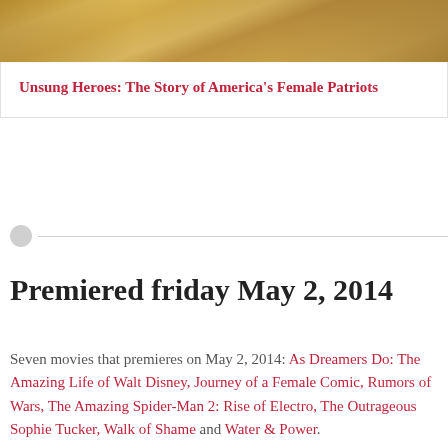[Figure (photo): Partial movie poster image showing a person in military/patriotic attire with warm golden tones]
Unsung Heroes: The Story of America's Female Patriots
Premiered friday May 2, 2014
Seven movies that premieres on May 2, 2014: As Dreamers Do: The Amazing Life of Walt Disney, Journey of a Female Comic, Rumors of Wars, The Amazing Spider-Man 2: Rise of Electro, The Outrageous Sophie Tucker, Walk of Shame and Water & Power.